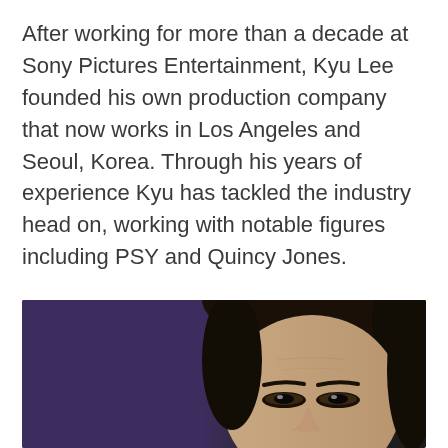After working for more than a decade at Sony Pictures Entertainment, Kyu Lee founded his own production company that now works in Los Angeles and Seoul, Korea. Through his years of experience Kyu has tackled the industry head on, working with notable figures including PSY and Quincy Jones.
[Figure (photo): A woman's face photographed against a purple/dark background. The right side shows the woman's face (Asian woman, dark hair, looking slightly downward) and the left side is a deep purple tone. The photo is cropped at the bottom showing only from the top of the head to approximately the nose/cheek area.]